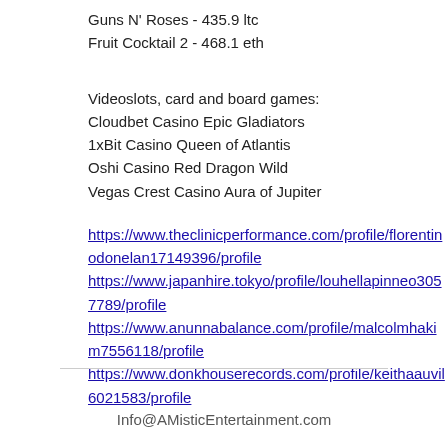Guns N' Roses - 435.9 ltc
Fruit Cocktail 2 - 468.1 eth
Videoslots, card and board games:
Cloudbet Casino Epic Gladiators
1xBit Casino Queen of Atlantis
Oshi Casino Red Dragon Wild
Vegas Crest Casino Aura of Jupiter
https://www.theclinicperformance.com/profile/florentinodonelan17149396/profile
https://www.japanhire.tokyo/profile/louhellapinneo3057789/profile
https://www.anunnabalance.com/profile/malcolmhakim7556118/profile
https://www.donkhouserecords.com/profile/keithaauvil6021583/profile
Info@AMisticEntertainment.com